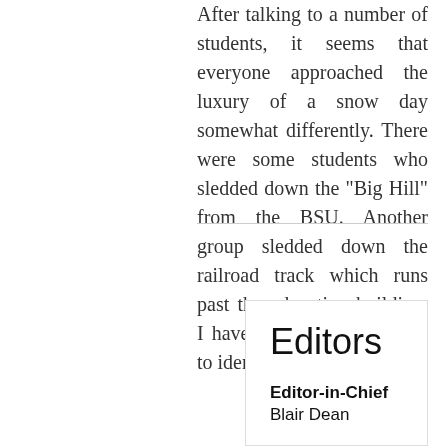After talking to a number of students, it seems that everyone approached the luxury of a snow day somewhat differently. There were some students who sledded down the "Big Hill" from the BSU. Another group sledded down the railroad track which runs past the education building. I have thus far been unable to identify these students, or
Editors
Editor-in-Chief
Blair Dean